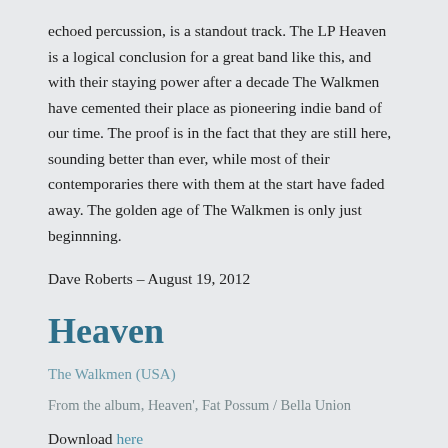echoed percussion, is a standout track. The LP Heaven is a logical conclusion for a great band like this, and with their staying power after a decade The Walkmen have cemented their place as pioneering indie band of our time. The proof is in the fact that they are still here, sounding better than ever, while most of their contemporaries there with them at the start have faded away. The golden age of The Walkmen is only just beginnning.
Dave Roberts – August 19, 2012
Heaven
The Walkmen (USA)
From the album, Heaven', Fat Possum / Bella Union
Download here
http://...